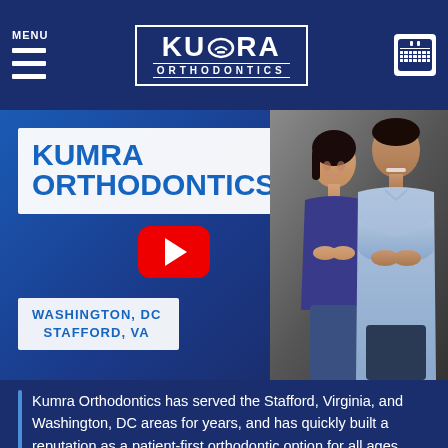MENU — Kumra Orthodontics logo — Calendar icon
[Figure (screenshot): Kumra Orthodontics website hero section showing the practice name in bold blue text on white background, a YouTube play button, location text 'Washington, DC / Stafford, VA', and a photo of two smiling orthodontists (a woman and a man) posing together against a dark background]
Kumra Orthodontics has served the Stafford, Virginia, and Washington, DC areas for years, and has quickly built a reputation as a patient-first orthodontic option for all ages. Our reputation is merely a side-effect of